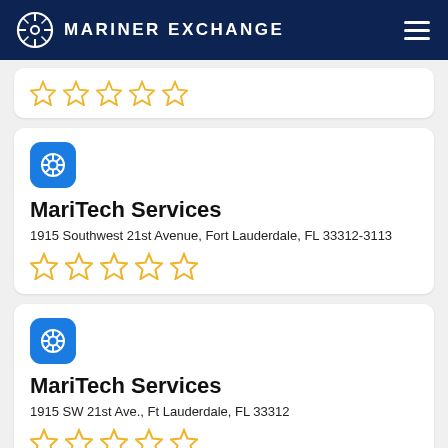MARINER EXCHANGE
[Figure (screenshot): Partial listing card showing 5 empty star ratings at top of page]
MariTech Services
1915 Southwest 21st Avenue, Fort Lauderdale, FL 33312-3113
[Figure (other): 5 empty star rating icons (yellow outline)]
MariTech Services
1915 SW 21st Ave., Ft Lauderdale, FL 33312
[Figure (other): 5 empty star rating icons (yellow outline)]